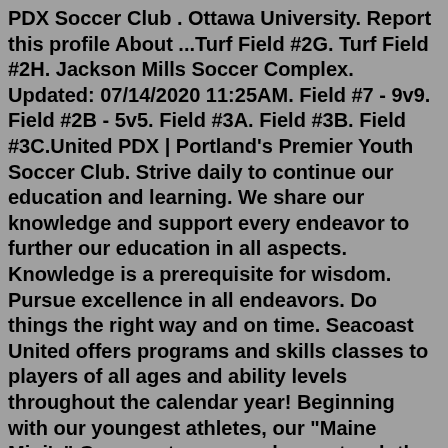PDX Soccer Club . Ottawa University. Report this profile About ...Turf Field #2G. Turf Field #2H. Jackson Mills Soccer Complex. Updated: 07/14/2020 11:25AM. Field #7 - 9v9. Field #2B - 5v5. Field #3A. Field #3B. Field #3C.United PDX | Portland's Premier Youth Soccer Club. Strive daily to continue our education and learning. We share our knowledge and support every endeavor to further our education in all aspects. Knowledge is a prerequisite for wisdom. Pursue excellence in all endeavors. Do things the right way and on time. Seacoast United offers programs and skills classes to players of all ages and ability levels throughout the calendar year! Beginning with our youngest athletes, our "Maine Mini's" Grassroots soccer classes teach the basic skills needed to be successful on the field, while also working to develop fine motor skills and a sense of teamwork.Spirit Defender Karina Rodriguez Called Up To Mexican National Team. August 26, 2022. Washington, D.C., (08/26/2022) - Karina Rodriguez has once again been called up to the Mexican women's national football...